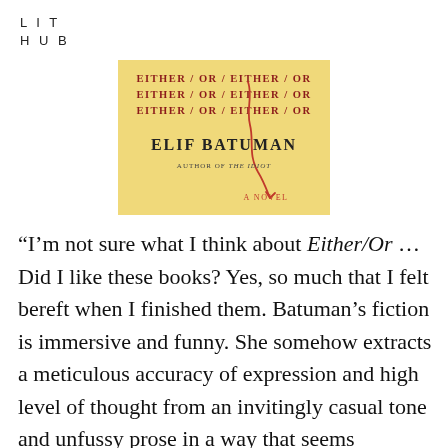LIT HUB
[Figure (illustration): Book cover of 'Either/Or' by Elif Batuman. Yellow background with repeating text 'EITHER / OR' in dark red at the top, author name 'ELIF BATUMAN' in large serif font, subtitle 'AUTHOR OF THE IDIOT' and 'A NOVEL' in smaller text with a red squiggly line illustration.]
“I’m not sure what I think about Either/Or … Did I like these books? Yes, so much that I felt bereft when I finished them. Batuman’s fiction is immersive and funny. She somehow extracts a meticulous accuracy of expression and high level of thought from an invitingly casual tone and unfussy prose in a way that seems effortless, even inevitable. But, on a conceptual level, these novels also left me itchy, as though I had